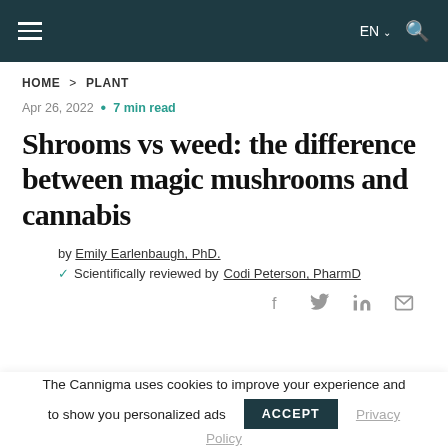≡  EN ∨  🔍
HOME > PLANT
Apr 26, 2022 • 7 min read
Shrooms vs weed: the difference between magic mushrooms and cannabis
by Emily Earlenbaugh, PhD.
✓ Scientifically reviewed by Codi Peterson, PharmD
The Cannigma uses cookies to improve your experience and to show you personalized ads  ACCEPT  Privacy Policy